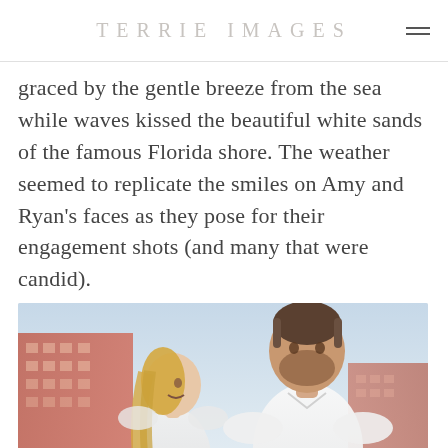TERRIE IMAGES
graced by the gentle breeze from the sea while waves kissed the beautiful white sands of the famous Florida shore. The weather seemed to replicate the smiles on Amy and Ryan's faces as they pose for their engagement shots (and many that were candid).
[Figure (photo): A couple standing outdoors at a Florida beach location. A woman with blonde hair on the left smiles and looks up at a bearded man on the right who is wearing a white shirt. A pink hotel building is visible in the background against a light blue sky.]